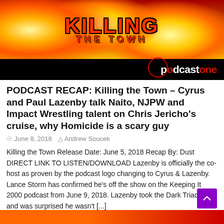[Figure (illustration): Killing the Town podcast banner with fiery orange/yellow background, red stylized title text 'KILLING THE TOWN', subtitle 'THE TOWN', and PodcastOne logo in bottom right with red circle icon]
PODCAST RECAP: Killing the Town – Cyrus and Paul Lazenby talk Naito, NJPW and Impact Wrestling talent on Chris Jericho's cruise, why Homicide is a scary guy
June 8, 2018   Andrew Soucek
Killing the Town Release Date: June 5, 2018 Recap By: Dust DIRECT LINK TO LISTEN/DOWNLOAD Lazenby is officially the co-host as proven by the podcast logo changing to Cyrus & Lazenby. Lance Storm has confirmed he's off the show on the Keeping It 2000 podcast from June 9, 2018. Lazenby took the Dark Triad Test and was surprised he wasn't [...]